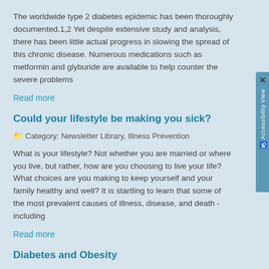The worldwide type 2 diabetes epidemic has been thoroughly documented.1,2 Yet despite extensive study and analysis, there has been little actual progress in slowing the spread of this chronic disease. Numerous medications such as metformin and glyburide are available to help counter the severe problems
Read more
Could your lifestyle be making you sick?
📁 Category: Newsletter Library, Illness Prevention
What is your lifestyle? Not whether you are married or where you live, but rather, how are you choosing to live your life? What choices are you making to keep yourself and your family healthy and well? It is startling to learn that some of the most prevalent causes of illness, disease, and death - including
Read more
Diabetes and Obesity
📁 Category: Newsletter Library, Illness Prevention